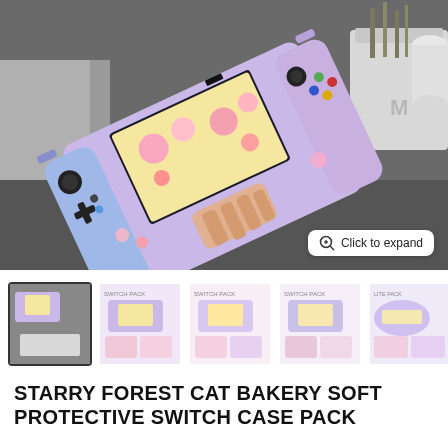[Figure (photo): Hand holding a purple Nintendo Switch with kawaii cat bakery themed skin/case, featuring pink and yellow dessert illustrations. Background shows grey fabric and a white planter.]
[Figure (screenshot): Row of 6 product thumbnail images showing various angles and versions of the starry forest cat bakery switch case pack. First thumbnail is selected (has border). A right arrow navigation button is at the end.]
STARRY FOREST CAT BAKERY SOFT PROTECTIVE SWITCH CASE PACK
[Figure (other): 5 empty gold/yellow star rating icons (0 out of 5 stars)]
$55.00 - $82.00